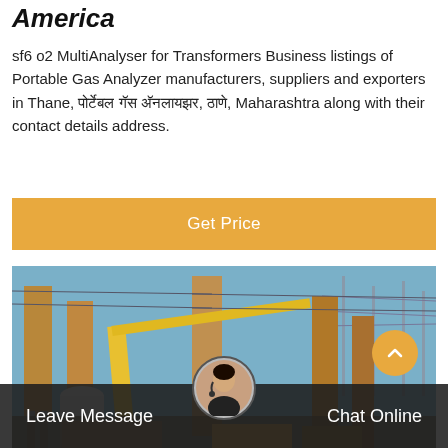America
sf6 o2 MultiAnalyser for Transformers Business listings of Portable Gas Analyzer manufacturers, suppliers and exporters in Thane, पोर्टेबल गॅस अ‍ॅनलायझर, ठाणे, Maharashtra along with their contact details address.
[Figure (other): Orange button labeled 'Get Price']
[Figure (photo): Industrial electrical substation with large transformers, cylindrical tanks, overhead power lines and cranes under blue sky]
Leave Message   Chat Online